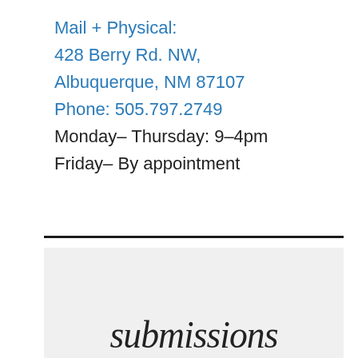Mail + Physical:
428 Berry Rd. NW,
Albuquerque, NM 87107
Phone: 505.797.2749
Monday– Thursday: 9–4pm
Friday– By appointment
[Figure (illustration): Decorative calligraphy script image showing the word 'submissions' in elegant cursive lettering on a light gray background]